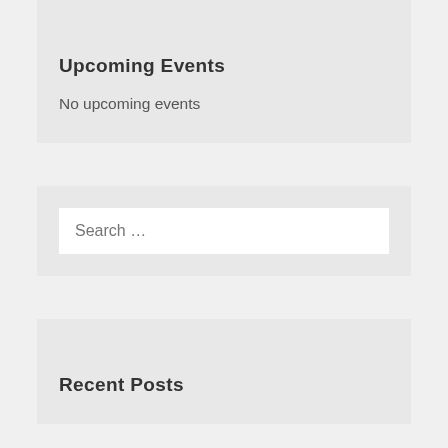Upcoming Events
No upcoming events
[Figure (screenshot): Search input box with placeholder text 'Search ...']
Recent Posts